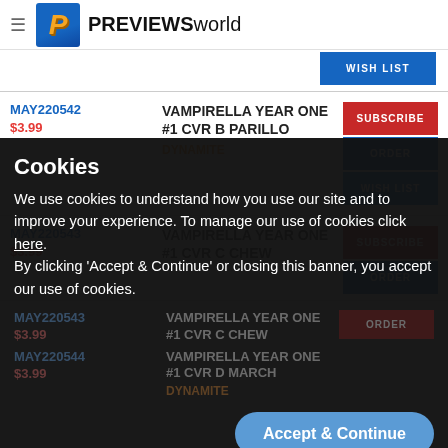PREVIEWS world
WISH LIST
MAY220542 $3.99 VAMPIRELLA YEAR ONE #1 CVR B PARILLO DYNAMITE
SUBSCRIBE ORDER WISH LIST
MAY220543 $3.99 VAMPIRELLA YEAR ONE #1 CVR C CHEW
SUBSCRIBE ORDER
MAY220544 $3.99 VAMPIRELLA YEAR ONE #1 CVR D MARCH DYNAMITE
Cookies
We use cookies to understand how you use our site and to improve your experience. To manage our use of cookies click here.
By clicking 'Accept & Continue' or closing this banner, you accept our use of cookies.
Accept & Continue